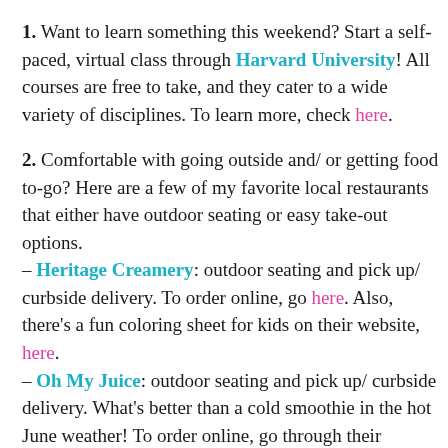1. Want to learn something this weekend? Start a self-paced, virtual class through Harvard University! All courses are free to take, and they cater to a wide variety of disciplines. To learn more, check here.
2. Comfortable with going outside and/ or getting food to-go? Here are a few of my favorite local restaurants that either have outdoor seating or easy take-out options. – Heritage Creamery: outdoor seating and pick up/ curbside delivery. To order online, go here. Also, there's a fun coloring sheet for kids on their website, here. – Oh My Juice: outdoor seating and pick up/ curbside delivery. What's better than a cold smoothie in the hot June weather! To order online, go through their website, here. – Revival Eastside Eatery: online ordering and curbside delivery. You can order here. They have healthy food for